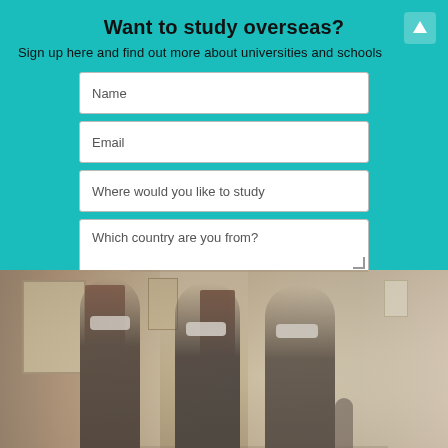Want to study overseas?
Sign up here and find out more about universities and schools
[Figure (screenshot): Web form with fields for Name, Email, Where would you like to study, Which country are you from?, and a Submit button, on a teal/turquoise background]
[Figure (photo): Three young female students wearing face masks walking down a university hallway/corridor. The hallway has cream-colored walls with framed pictures, dark wooden doors, and recedes into the distance where another person can be seen.]